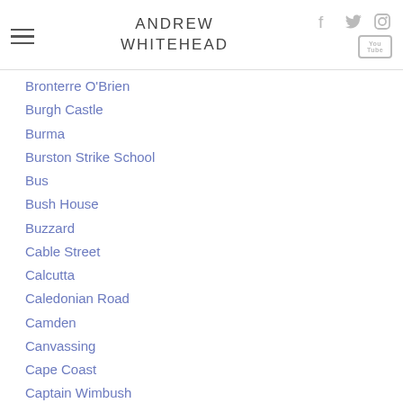ANDREW WHITEHEAD
Bronterre O'Brien
Burgh Castle
Burma
Burston Strike School
Bus
Bush House
Buzzard
Cable Street
Calcutta
Caledonian Road
Camden
Canvassing
Cape Coast
Captain Wimbush
Carmarthen
Cashmere
Cecil Tyndale-Biscoe